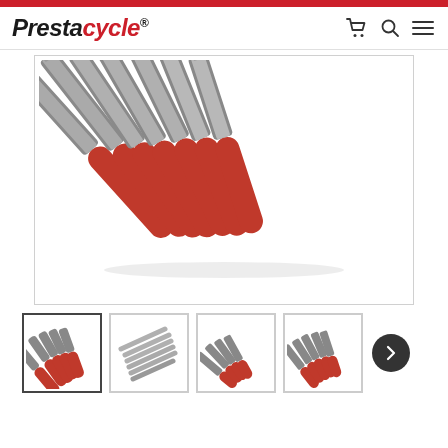[Figure (logo): Prestacycle logo - black bold italic text with red 'cycle' portion and registered trademark symbol]
[Figure (photo): Main product photo: set of 7 hex/torx driver bits with red plastic ring bases fanned out on white background]
[Figure (photo): Thumbnail 1 (active/selected): same set of driver bits with red bases, small view]
[Figure (photo): Thumbnail 2: plain metal driver bits/rods without red bases, fanned out]
[Figure (photo): Thumbnail 3: driver bits with red bases at steeper angle, shorter view]
[Figure (photo): Thumbnail 4: driver bits with red bases, top-down fan arrangement]